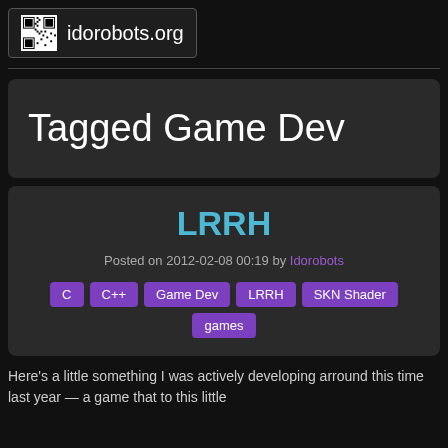idorobots.org
Tagged Game Dev
LRRH
Posted on 2012-02-08 00:19 by Idorobots
C
C++
Game Dev
LRRH
SKN Shader
games
Here's a little something I was actively developing arround this time last year — a game that to this little...